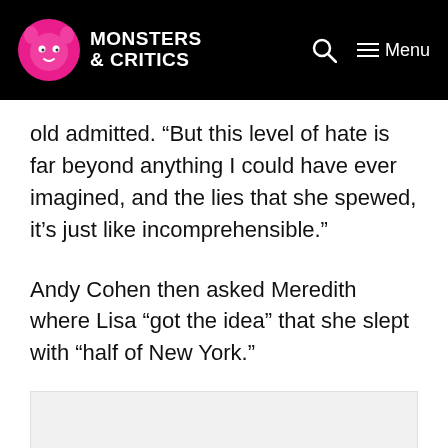Monsters & Critics — Menu
old admitted. “But this level of hate is far beyond anything I could have ever imagined, and the lies that she spewed, it’s just like incomprehensible.”
Andy Cohen then asked Meredith where Lisa “got the idea” that she slept with “half of New York.”
[Figure (other): Advertisement placeholder box]